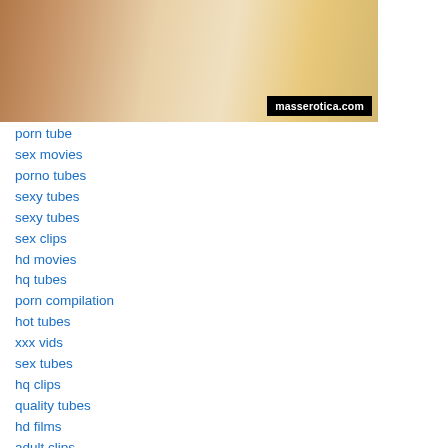[Figure (photo): Screenshot thumbnail from masserotica.com showing two people near a laptop with text watermark overlay]
porn tube
sex movies
porno tubes
sexy tubes
sexy tubes
sex clips
hd movies
hq tubes
porn compilation
hot tubes
xxx vids
sex tubes
hq clips
quality tubes
hd films
adult clips
sex tube
hq movies